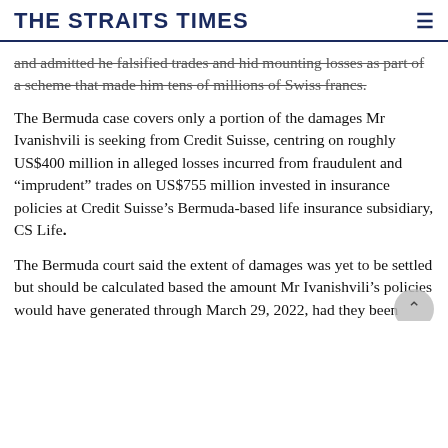THE STRAITS TIMES
and admitted he falsified trades and hid mounting losses as part of a scheme that made him tens of millions of Swiss francs.
The Bermuda case covers only a portion of the damages Mr Ivanishvili is seeking from Credit Suisse, centring on roughly US$400 million in alleged losses incurred from fraudulent and "imprudent" trades on US$755 million invested in insurance policies at Credit Suisse's Bermuda-based life insurance subsidiary, CS Life.
The Bermuda court said the extent of damages was yet to be settled but should be calculated based the amount Mr Ivanishvili's policies would have generated through March 29, 2022, had they been